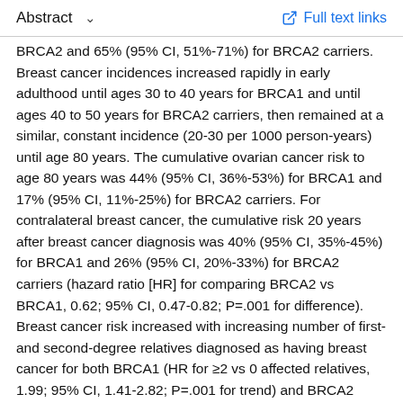Abstract   ∨   Full text links
BRCA2 and 65% (95% CI, 51%-71%) for BRCA2 carriers. Breast cancer incidences increased rapidly in early adulthood until ages 30 to 40 years for BRCA1 and until ages 40 to 50 years for BRCA2 carriers, then remained at a similar, constant incidence (20-30 per 1000 person-years) until age 80 years. The cumulative ovarian cancer risk to age 80 years was 44% (95% CI, 36%-53%) for BRCA1 and 17% (95% CI, 11%-25%) for BRCA2 carriers. For contralateral breast cancer, the cumulative risk 20 years after breast cancer diagnosis was 40% (95% CI, 35%-45%) for BRCA1 and 26% (95% CI, 20%-33%) for BRCA2 carriers (hazard ratio [HR] for comparing BRCA2 vs BRCA1, 0.62; 95% CI, 0.47-0.82; P=.001 for difference). Breast cancer risk increased with increasing number of first- and second-degree relatives diagnosed as having breast cancer for both BRCA1 (HR for ≥2 vs 0 affected relatives, 1.99; 95% CI, 1.41-2.82; P=.001 for trend) and BRCA2 carriers (HR 1.01; 95% CI,